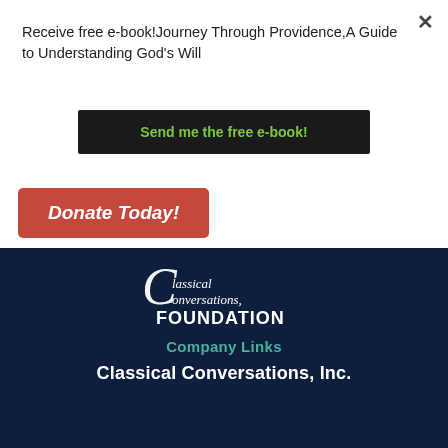Receive free e-book!Journey Through Providence,A Guide to Understanding God's Will
Send me the free e-book!
Donate Today!
[Figure (logo): Classical Conversations Foundation logo — cursive lettering with FOUNDATION in bold sans-serif below]
Company Links
Classical Conversations, Inc.